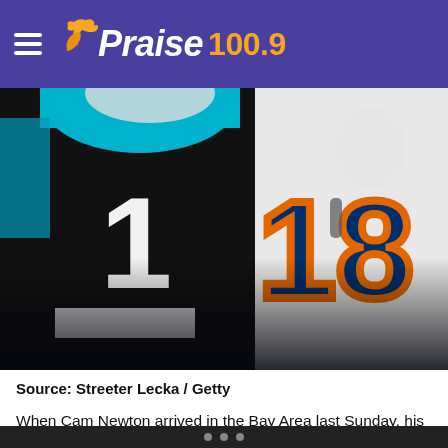≡ Praise 100.9
[Figure (photo): Two NFL players standing together: one wearing a black Carolina Panthers jersey with number 1, another wearing a white Denver Broncos jersey with number 18.]
Source: Streeter Lecka / Getty
When Cam Newton arrived in the Bay Area last Sunday, his appearance was making the talk of the nation. When he got...